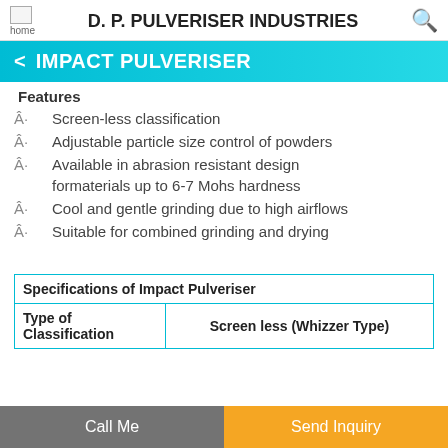D. P. PULVERISER INDUSTRIES
IMPACT PULVERISER
Features
Screen-less classification
Adjustable particle size control of powders
Available in abrasion resistant design formaterials up to 6-7 Mohs hardness
Cool and gentle grinding due to high airflows
Suitable for combined grinding and drying
| Specifications of Impact Pulveriser |
| --- |
| Type of Classification | Screen less (Whizzer Type) |
Call Me | Send Inquiry